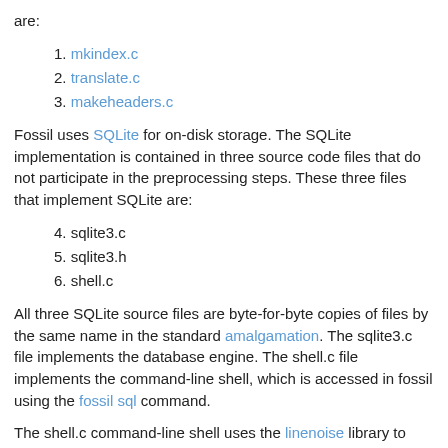are:
1. mkindex.c
2. translate.c
3. makeheaders.c
Fossil uses SQLite for on-disk storage. The SQLite implementation is contained in three source code files that do not participate in the preprocessing steps. These three files that implement SQLite are:
4. sqlite3.c
5. sqlite3.h
6. shell.c
All three SQLite source files are byte-for-byte copies of files by the same name in the standard amalgamation. The sqlite3.c file implements the database engine. The shell.c file implements the command-line shell, which is accessed in fossil using the fossil sql command.
The shell.c command-line shell uses the linenoise library to implement line editing. linenoise comprises two source files which were copied from the upstream repository with only very minor portability edits:
7. linenoise.c